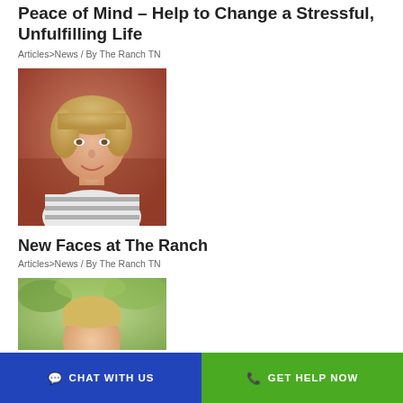Peace of Mind – Help to Change a Stressful, Unfulfilling Life
Articles>News / By The Ranch TN
[Figure (photo): Photo of a woman with short blonde hair wearing a striped top, smiling, with a brown/orange background]
New Faces at The Ranch
Articles>News / By The Ranch TN
[Figure (photo): Partial photo of a person with blonde hair outdoors with green foliage in background]
CHAT WITH US   GET HELP NOW